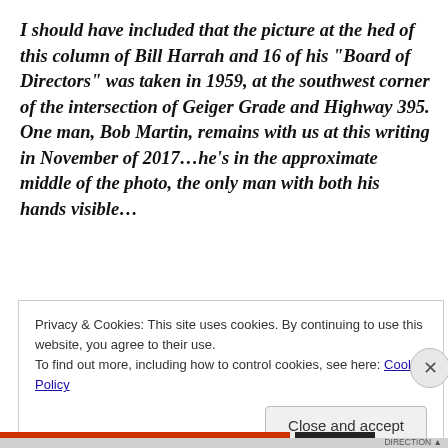I should have included that the picture at the hed of this column of Bill Harrah and 16 of his “Board of Directors” was taken in 1959, at the southwest corner of the intersection of Geiger Grade and Highway 395. One man, Bob Martin, remains with us at this writing in November of 2017…he’s in the approximate middle of the photo, the only man with both his hands visible…
Privacy & Cookies: This site uses cookies. By continuing to use this website, you agree to their use.
To find out more, including how to control cookies, see here: Cookie Policy